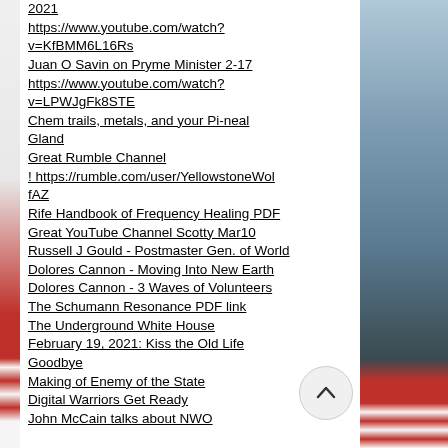2021
https://www.youtube.com/watch?v=KfBMM6L16Rs
Juan O Savin on Pryme Minister 2-17
https://www.youtube.com/watch?v=LPWJgFk8STE
Chem trails, metals, and your Pi-neal Gland
Great Rumble Channel
! https://rumble.com/user/YellowstoneWolfAZ
Rife Handbook of Frequency Healing PDF
Great YouTube Channel Scotty Mar10
Russell J Gould - Postmaster Gen. of World
Dolores Cannon - Moving Into New Earth
Dolores Cannon - 3 Waves of Volunteers
The Schumann Resonance PDF link
The Underground White House
February 19, 2021: Kiss the Old Life Goodbye
Making of Enemy of the State
Digital Warriors Get Ready
John McCain talks about NWO